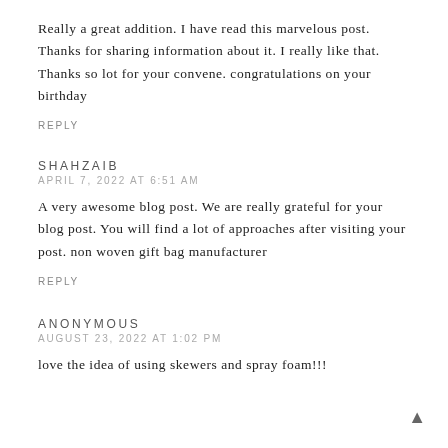Really a great addition. I have read this marvelous post. Thanks for sharing information about it. I really like that. Thanks so lot for your convene. congratulations on your birthday
REPLY
SHAHZAIB
APRIL 7, 2022 AT 6:51 AM
A very awesome blog post. We are really grateful for your blog post. You will find a lot of approaches after visiting your post. non woven gift bag manufacturer
REPLY
ANONYMOUS
AUGUST 23, 2022 AT 1:02 PM
love the idea of using skewers and spray foam!!!